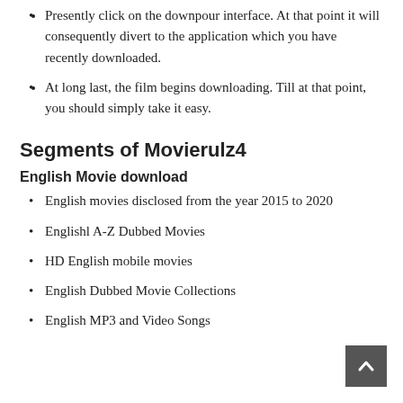Presently click on the downpour interface. At that point it will consequently divert to the application which you have recently downloaded.
At long last, the film begins downloading. Till at that point, you should simply take it easy.
Segments of Movierulz4
English Movie download
English movies disclosed from the year 2015 to 2020
Englishl A-Z Dubbed Movies
HD English mobile movies
English Dubbed Movie Collections
English MP3 and Video Songs